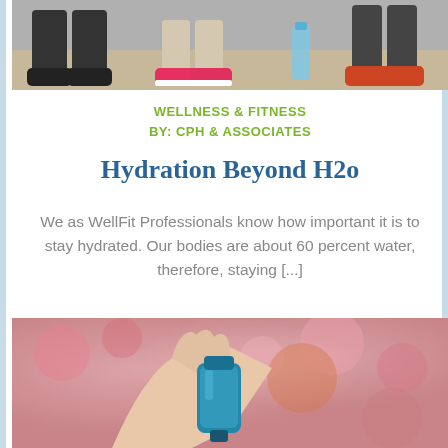[Figure (photo): Cropped photo showing legs and feet of people sitting on a gym floor, wearing athletic shoes including pink sneakers, with a water bottle visible]
WELLNESS & FITNESS
BY: CPH & ASSOCIATES
Hydration Beyond H2o
We as WellFit Professionals know how important it is to stay hydrated. Our bodies are about 60 percent water, therefore, staying [...]
[Figure (photo): Photo of a hand holding a blue asthma inhaler against a blurred pink floral background]